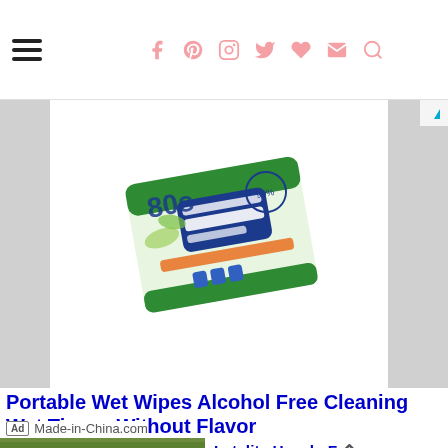Navigation header with hamburger menu and social icons (f, Pinterest, Instagram, Twitter, heart, mail, search)
[Figure (photo): Package of portable wet wipes with green and white packaging, Korean text, showing '99%' label in blue]
Portable Wet Wipes Alcohol Free Cleaning Wet Tissue Without Flavor
Ad  Made-in-China.com
[Figure (photo): Close-up photo of earthworms on green grass]
Latelita Hassle-F Returns - Latelita Statement Rings Cuffs